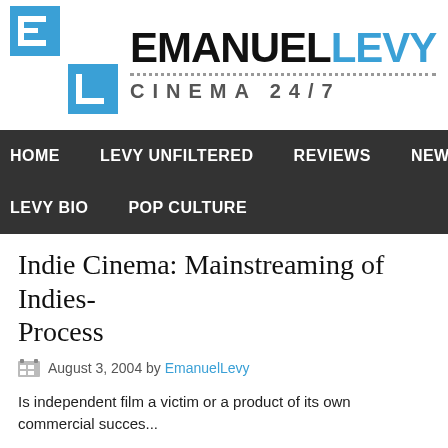[Figure (logo): EmanuelLevy Cinema 24/7 logo with blue EL icon and black/blue text]
HOME   LEVY UNFILTERED   REVIEWS   NEWS   OSCA...
LEVY BIO   POP CULTURE
Indie Cinema: Mainstreaming of Indies- Process
August 3, 2004 by EmanuelLevy
Is independent film a victim or a product of its own commercial succes...
Note:
If you want to know more about American Independent Cinema, please...
[Figure (photo): Book cover image with text 'Cinema of']